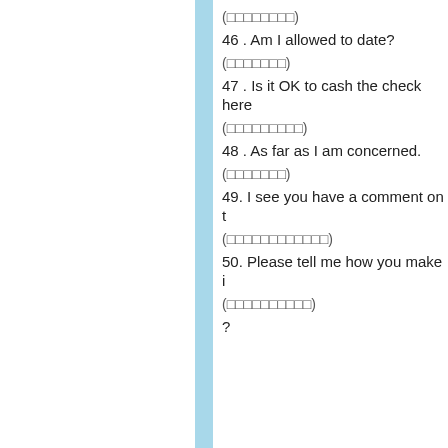(□□□□□□□□)
46 . Am I allowed to date?
(□□□□□□□)
47 . Is it OK to cash the check here
(□□□□□□□□□)
48 . As far as I am concerned.
(□□□□□□□)
49. I see you have a comment on t
(□□□□□□□□□□□□)
50. Please tell me how you make i
(□□□□□□□□□□)
?